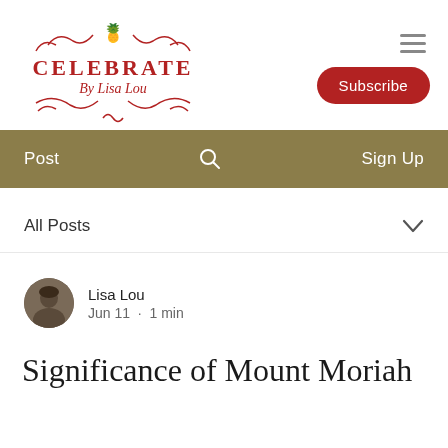[Figure (logo): Celebrate By Lisa Lou logo with pineapple, decorative swirls, and red text]
Subscribe
Post  🔍  Sign Up
All Posts
Lisa Lou
Jun 11 · 1 min
Significance of Mount Moriah